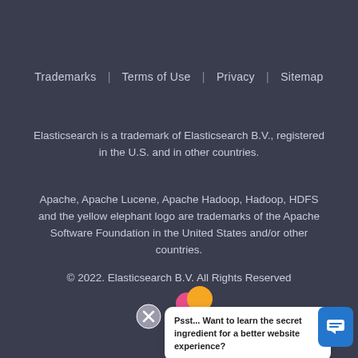Trademarks | Terms of Use | Privacy | Sitemap
Elasticsearch is a trademark of Elasticsearch B.V., registered in the U.S. and in other countries.
Apache, Apache Lucene, Apache Hadoop, Hadoop, HDFS and the yellow elephant logo are trademarks of the Apache Software Foundation in the United States and/or other countries.
© 2022. Elasticsearch B.V. All Rights Reserved
[Figure (screenshot): Chat popup widget with close button, colorful icon (pink and yellow circles), white popup box with text 'Psst... Want to learn the secret ingredient for a better website experience?' and a blue chat button icon on the right.]